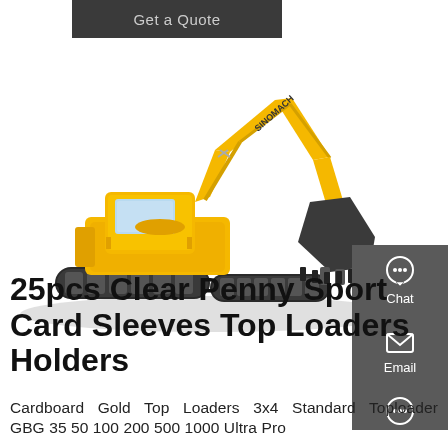[Figure (screenshot): Dark gray button labeled 'Get a Quote']
[Figure (photo): Yellow SINOMACH excavator on white background with shadow]
[Figure (infographic): Dark gray sidebar with Chat, Email, and Contact icons and labels]
25pcs Clear Penny Sport Card Sleeves Top Loaders Holders
Cardboard Gold Top Loaders 3x4 Standard Toploader GBG 35 50 100 200 500 1000 Ultra Pro